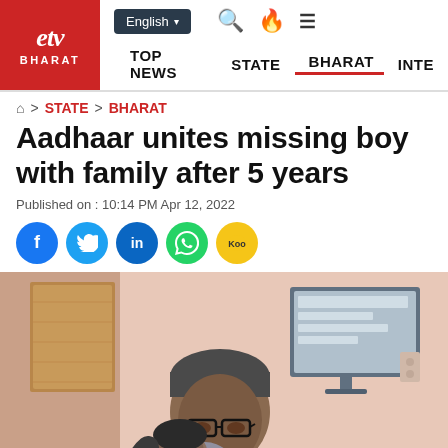ETV Bharat | English | TOP NEWS | STATE | BHARAT | INTE...
HOME > STATE > BHARAT
Aadhaar unites missing boy with family after 5 years
Published on : 10:14 PM Apr 12, 2022
[Figure (screenshot): Social share buttons: Facebook, Twitter, LinkedIn, WhatsApp, Koo]
[Figure (photo): A man wearing glasses and dark clothing hugging a child, inside an office-like room with a cork board and monitor in the background.]